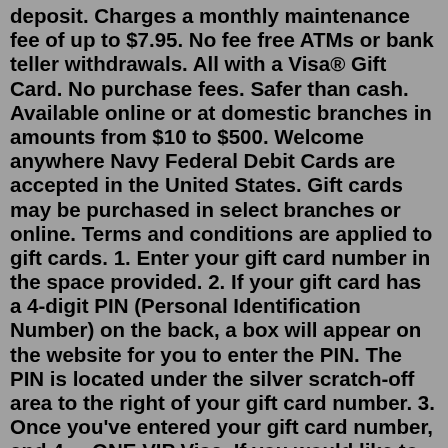deposit. Charges a monthly maintenance fee of up to $7.95. No fee free ATMs or bank teller withdrawals. All with a Visa® Gift Card. No purchase fees. Safer than cash. Available online or at domestic branches in amounts from $10 to $500. Welcome anywhere Navy Federal Debit Cards are accepted in the United States. Gift cards may be purchased in select branches or online. Terms and conditions are applied to gift cards. 1. Enter your gift card number in the space provided. 2. If your gift card has a 4-digit PIN (Personal Identification Number) on the back, a box will appear on the website for you to enter the PIN. The PIN is located under the silver scratch-off area to the right of your gift card number. 3. Once you've entered your gift card number, and 4 ... ONE VIP Visa. If you would like to support a good cause with your money and business, check out the ONE VIP Visa from Urban One, the largest Black-owned media company in the U.S. The card is $4.95 ... Mar 04, 2020 · A woman received a Green Dot reloadable debit card with $100 on it as a gift. But not all gift cards and